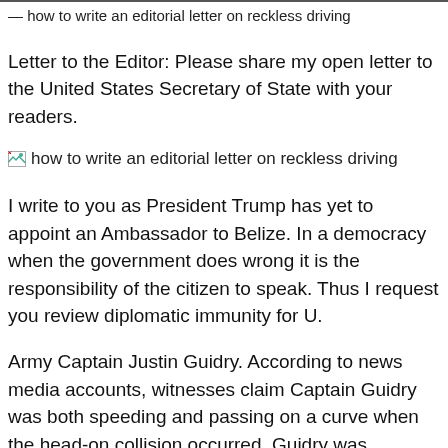how to write an editorial letter on reckless driving
Letter to the Editor: Please share my open letter to the United States Secretary of State with your readers.
[Figure (illustration): Broken image placeholder with alt text: how to write an editorial letter on reckless driving]
I write to you as President Trump has yet to appoint an Ambassador to Belize. In a democracy when the government does wrong it is the responsibility of the citizen to speak. Thus I request you review diplomatic immunity for U.
Army Captain Justin Guidry. According to news media accounts, witnesses claim Captain Guidry was both speeding and passing on a curve when the head-on collision occurred. Guidry was whisked from the accident scene and avoided a blood-alcohol test by Belize authorities. Guidry was quickly transferred out of Belize apparently with no loss of diplomatic immunity the